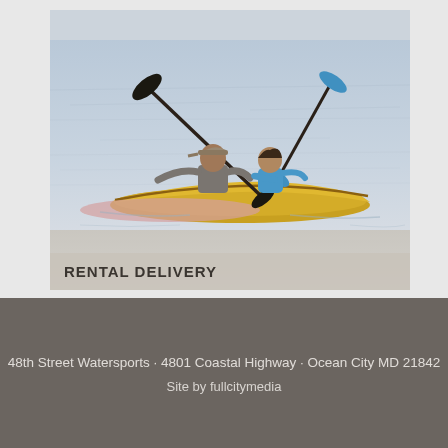[Figure (photo): Two people kayaking on calm water. An adult in a gray shirt and cap paddles a yellow kayak, with a child in a blue life vest seated in front. The water is light blue-gray with gentle ripples.]
RENTAL DELIVERY
48th Street Watersports · 4801 Coastal Highway · Ocean City MD 21842
Site by fullcitymedia